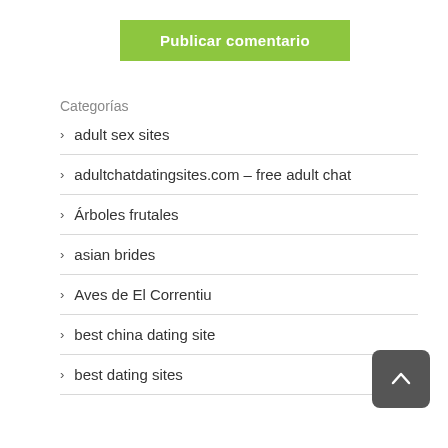[Figure (other): Green button labeled 'Publicar comentario']
Categorías
adult sex sites
adultchatdatingsites.com – free adult chat
Árboles frutales
asian brides
Aves de El Correntiu
best china dating site
best dating sites